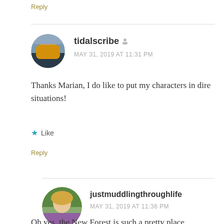Reply
tidalscribe
MAY 31, 2019 AT 11:31 PM
Thanks Marian, I do like to put my characters in dire situations!
Like
Reply
justmuddlingthroughlife
MAY 31, 2019 AT 11:36 PM
Oh yes, the New Forest is such a pretty place